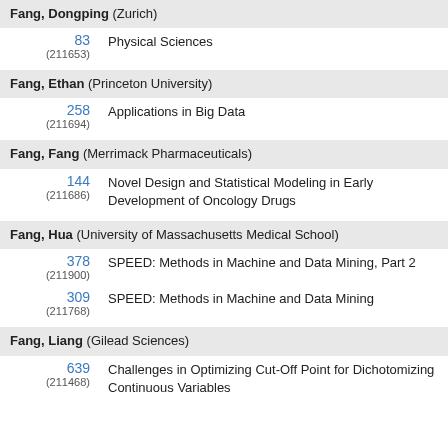Fang, Dongping (Zurich)
83 (211653) Physical Sciences
Fang, Ethan (Princeton University)
258 (211694) Applications in Big Data
Fang, Fang (Merrimack Pharmaceuticals)
144 (211686) Novel Design and Statistical Modeling in Early Development of Oncology Drugs
Fang, Hua (University of Massachusetts Medical School)
378 (211900) SPEED: Methods in Machine and Data Mining, Part 2
309 (211768) SPEED: Methods in Machine and Data Mining
Fang, Liang (Gilead Sciences)
639 (211468) Challenges in Optimizing Cut-Off Point for Dichotomizing Continuous Variables